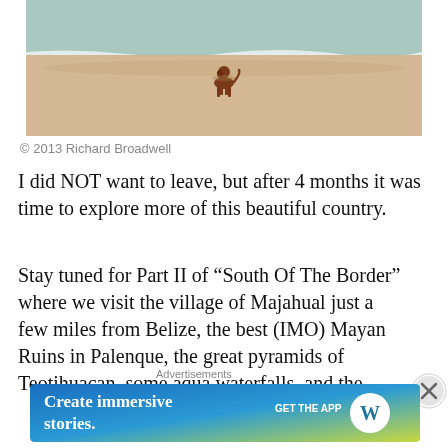[Figure (photo): A dog standing at the shoreline of a sandy beach, with gentle ocean waves in the background. The sand is warm-toned and the water is a light turquoise-blue.]
© 2013 Richard Broadwell
I did NOT want to leave, but after 4 months it was time to explore more of this beautiful country.
Stay tuned for Part II of “South Of The Border” where we visit the village of Majahual just a few miles from Belize, the best (IMO) Mayan Ruins in Palenque, the great pyramids of Teotihuacan, some aqua waterfalls, and the
[Figure (screenshot): Advertisement banner: 'Create immersive stories. GET THE APP' with WordPress logo, gradient background from blue to yellow-green.]